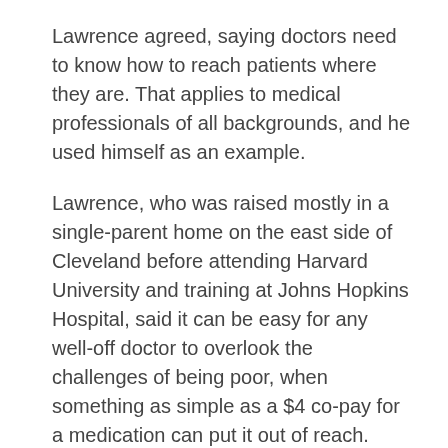Lawrence agreed, saying doctors need to know how to reach patients where they are. That applies to medical professionals of all backgrounds, and he used himself as an example.
Lawrence, who was raised mostly in a single-parent home on the east side of Cleveland before attending Harvard University and training at Johns Hopkins Hospital, said it can be easy for any well-off doctor to overlook the challenges of being poor, when something as simple as a $4 co-pay for a medication can put it out of reach.
There can be "an assumption that somehow because I'm Black, I automatically understand my poor Black patients," he said. "Well, that's not necessarily a safe assumption. Because the fact is, there are some things I was never taught in medical school."